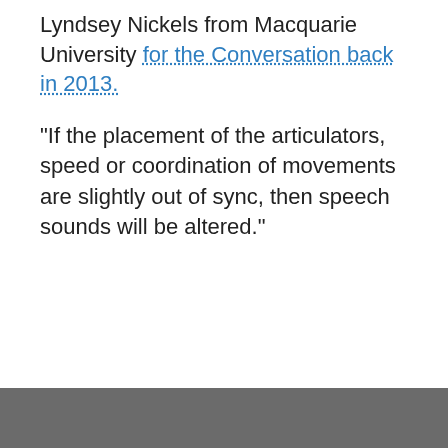Lyndsey Nickels from Macquarie University for the Conversation back in 2013.
"If the placement of the articulators, speed or coordination of movements are slightly out of sync, then speech sounds will be altered."